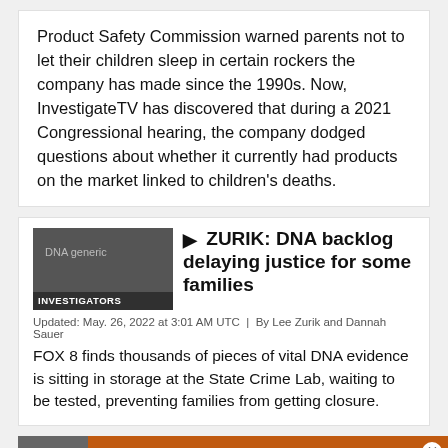Product Safety Commission warned parents not to let their children sleep in certain rockers the company has made since the 1990s. Now, InvestigateTV has discovered that during a 2021 Congressional hearing, the company dodged questions about whether it currently had products on the market linked to children's deaths.
[Figure (screenshot): Thumbnail image with dark background labeled DNA generic INVESTIGATORS]
ZURIK: DNA backlog delaying justice for some families
Updated: May. 26, 2022 at 3:01 AM UTC  |  By Lee Zurik and Dannah Sauer
FOX 8 finds thousands of pieces of vital DNA evidence is sitting in storage at the State Crime Lab, waiting to be tested, preventing families from getting closure.
[Figure (screenshot): Orange advertisement banner reading TAKE A TOUR with St. James Place logo]